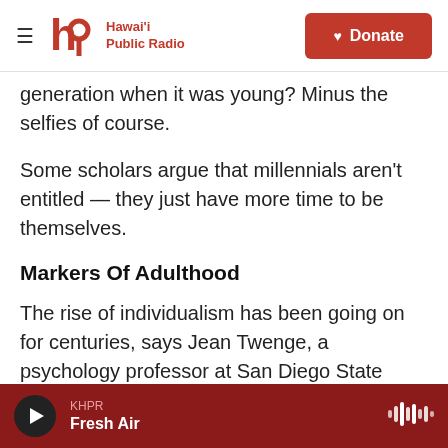Hawai'i Public Radio — Donate
generation when it was young? Minus the selfies of course.
Some scholars argue that millennials aren't entitled — they just have more time to be themselves.
Markers Of Adulthood
The rise of individualism has been going on for centuries, says Jean Twenge, a psychology professor at San Diego State University and author of Generation Me: Why Today's Young Americans Are More Confident, Assertive, Entitled — and More
KHPR Fresh Air